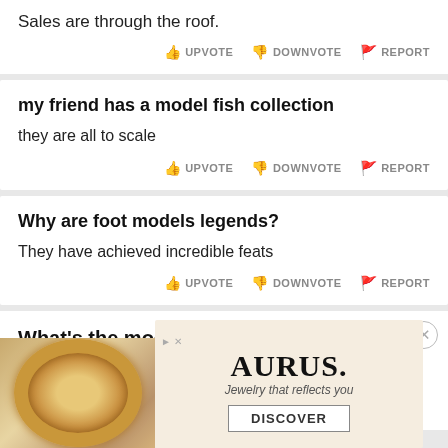Sales are through the roof.
my friend has a model fish collection
they are all to scale
Why are foot models legends?
They have achieved incredible feats
What's the model name of Tesla's new SUV?
[Figure (infographic): Advertisement for AURUS jewelry brand showing a gold bracelet with text 'Jewelry that reflects you' and a DISCOVER button]